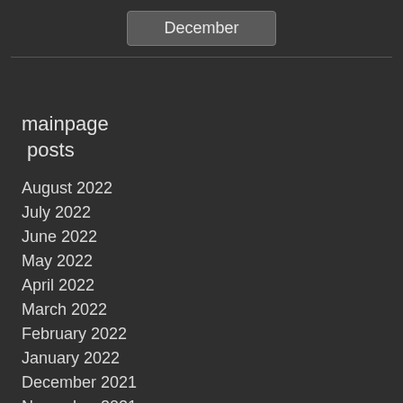December
mainpage posts
August 2022
July 2022
June 2022
May 2022
April 2022
March 2022
February 2022
January 2022
December 2021
November 2021
October 2021
September 2021